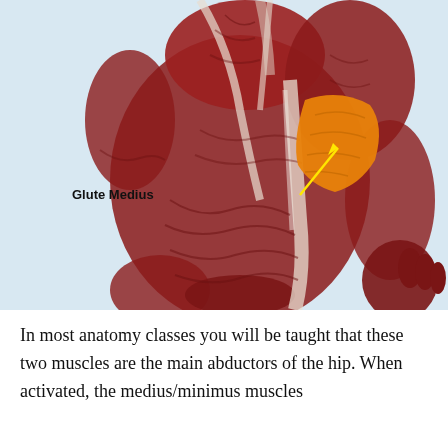[Figure (illustration): Anatomical illustration showing posterior view of human musculature with the Glute Medius muscle highlighted in orange. A yellow arrow labeled 'Glute Medius' points to the highlighted orange muscle region on the hip/gluteal area. The surrounding muscles are rendered in red/maroon tones with white connective tissue visible.]
In most anatomy classes you will be taught that these two muscles are the main abductors of the hip. When activated, the medius/minimus muscles